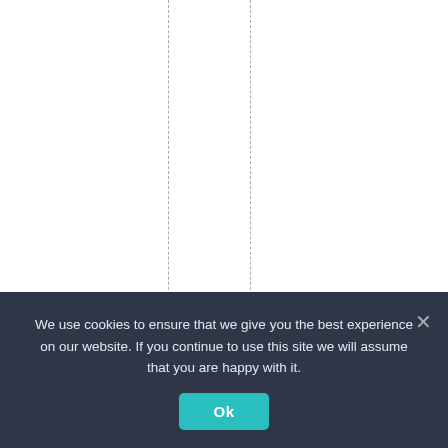tember 26, 2018 at 10:
We use cookies to ensure that we give you the best experience on our website. If you continue to use this site we will assume that you are happy with it.
Ok